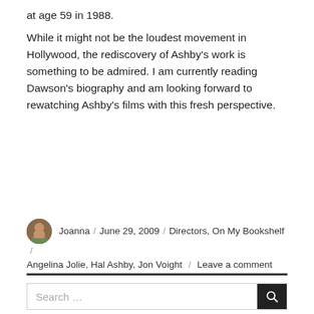at age 59 in 1988.
While it might not be the loudest movement in Hollywood, the rediscovery of Ashby's work is something to be admired. I am currently reading Dawson's biography and am looking forward to rewatching Ashby's films with this fresh perspective.
Joanna / June 29, 2009 / Directors, On My Bookshelf / Angelina Jolie, Hal Ashby, Jon Voight / Leave a comment